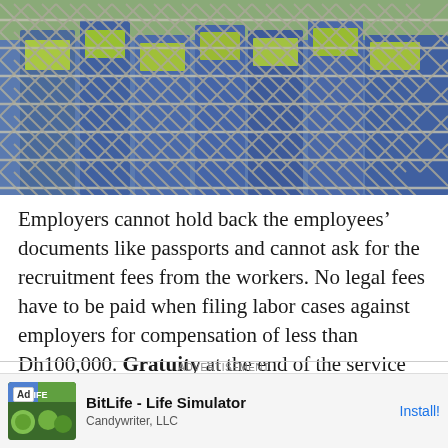[Figure (photo): Workers in blue uniforms and yellow vests standing behind a chain-link fence, viewed from outside the fence.]
Employers cannot hold back the employees' documents like passports and cannot ask for the recruitment fees from the workers. No legal fees have to be paid when filing labor cases against employers for compensation of less than Dh100,000. Gratuity at the end of the service will either
ADVERTISEMENT
BitLife - Life Simulator
Candywriter, LLC
Install!